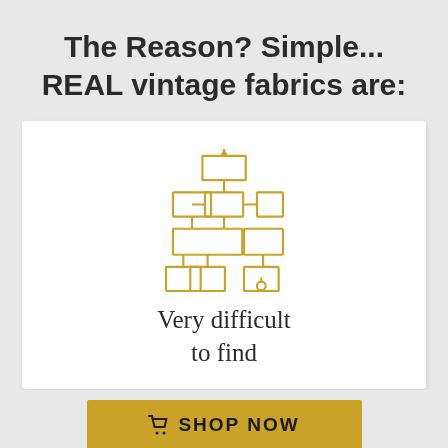The Reason? Simple… REAL vintage fabrics are:
[Figure (flowchart): Gold/yellow outlined flowchart icon with connected rectangles and an upward arrow, representing a complex process or supply chain]
Very difficult to find
SHOP NOW